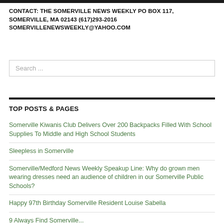CONTACT: THE SOMERVILLE NEWS WEEKLY PO BOX 117, SOMERVILLE, MA 02143 (617)293-2016 SOMERVILLENEWSWEEKLY@YAHOO.COM
Search ...
TOP POSTS & PAGES
Somerville Kiwanis Club Delivers Over 200 Backpacks Filled With School Supplies To Middle and High School Students
Sleepless in Somerville
Somerville/Medford News Weekly Speakup Line: Why do grown men wearing dresses need an audience of children in our Somerville Public Schools?
Happy 97th Birthday Somerville Resident Louise Sabella
9 Always Find Somerville...